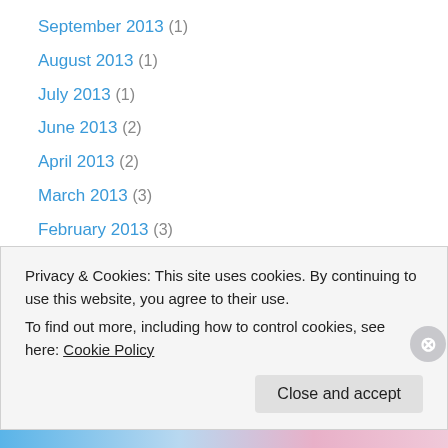September 2013 (1)
August 2013 (1)
July 2013 (1)
June 2013 (2)
April 2013 (2)
March 2013 (3)
February 2013 (3)
January 2013 (1)
November 2012 (3)
September 2012 (3)
July 2012 (2)
June 2012 (1)
May 2012 (3)
Privacy & Cookies: This site uses cookies. By continuing to use this website, you agree to their use. To find out more, including how to control cookies, see here: Cookie Policy
Close and accept